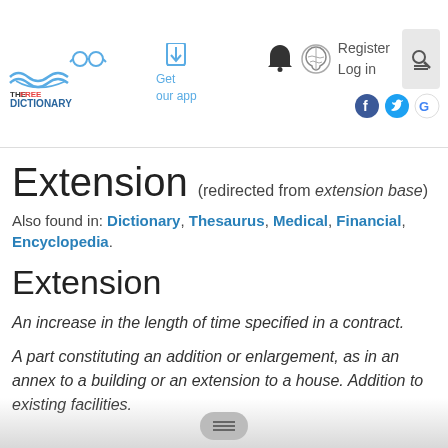The Free Dictionary by Farlex — Get our app — Register Log in
Extension (redirected from extension base)
Also found in: Dictionary, Thesaurus, Medical, Financial, Encyclopedia.
Extension
An increase in the length of time specified in a contract.
A part constituting an addition or enlargement, as in an annex to a building or an extension to a house. Addition to existing facilities.